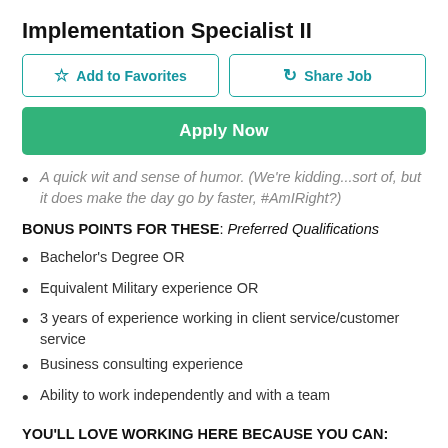Implementation Specialist II
[Figure (other): Two buttons: 'Add to Favorites' with star icon and 'Share Job' with share icon, both outlined in teal]
[Figure (other): Green 'Apply Now' button]
A quick wit and sense of humor. (We're kidding...sort of, but it does make the day go by faster, #AmIRight?)
BONUS POINTS FOR THESE: Preferred Qualifications
Bachelor's Degree OR
Equivalent Military experience OR
3 years of experience working in client service/customer service
Business consulting experience
Ability to work independently and with a team
YOU'LL LOVE WORKING HERE BECAUSE YOU CAN:
Bring your passion and fun. Be yourself in a culture of highly diverse perspectives and insights.
Stay ahead of the curve. An agile, fast-paced environment